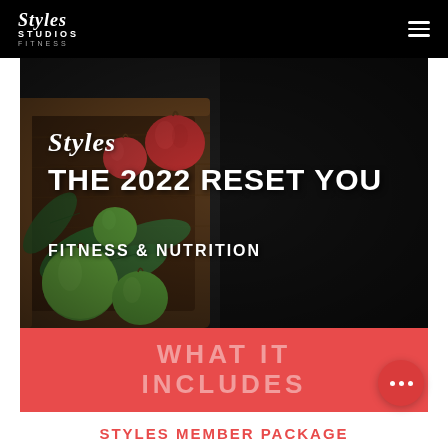Styles Studios Fitness
[Figure (photo): Hero image with green and red apples in a wooden tray on a dark background, overlaid with the Styles logo script, headline 'THE 2022 RESET YOU', and subheadline 'FITNESS & NUTRITION']
THE 2022 RESET YOU
FITNESS & NUTRITION
WHAT IT INCLUDES
STYLES MEMBER PACKAGE